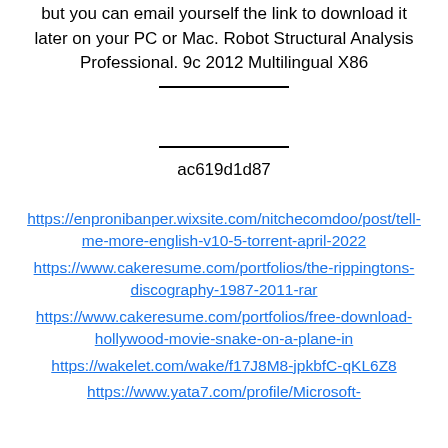but you can email yourself the link to download it later on your PC or Mac. Robot Structural Analysis Professional. 9c 2012 Multilingual X86
ac619d1d87
https://enpronibanper.wixsite.com/nitchecomdoo/post/tell-me-more-english-v10-5-torrent-april-2022 https://www.cakeresume.com/portfolios/the-rippingtons-discography-1987-2011-rar https://www.cakeresume.com/portfolios/free-download-hollywood-movie-snake-on-a-plane-in https://wakelet.com/wake/f17J8M8-jpkbfC-qKL6Z8 https://www.yata7.com/profile/Microsoft-